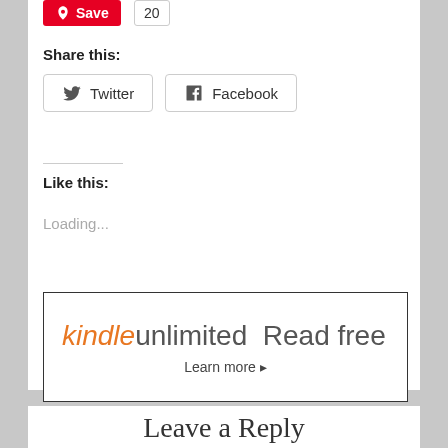[Figure (screenshot): Pinterest Save button (red) with count badge showing 20]
Share this:
[Figure (screenshot): Twitter and Facebook share buttons]
Like this:
Loading...
[Figure (screenshot): Kindle Unlimited advertisement banner: 'kindleunlimited Read free f' with 'Learn more ▸']
Leave a Reply